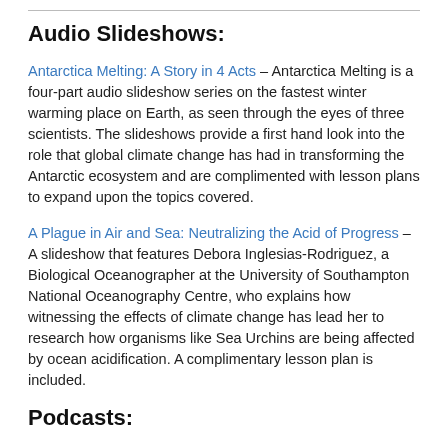Audio Slideshows:
Antarctica Melting: A Story in 4 Acts – Antarctica Melting is a four-part audio slideshow series on the fastest winter warming place on Earth, as seen through the eyes of three scientists. The slideshows provide a first hand look into the role that global climate change has had in transforming the Antarctic ecosystem and are complimented with lesson plans to expand upon the topics covered.
A Plague in Air and Sea: Neutralizing the Acid of Progress – A slideshow that features Debora Inglesias-Rodriguez, a Biological Oceanographer at the University of Southampton National Oceanography Centre, who explains how witnessing the effects of climate change has lead her to research how organisms like Sea Urchins are being affected by ocean acidification. A complimentary lesson plan is included.
Podcasts: